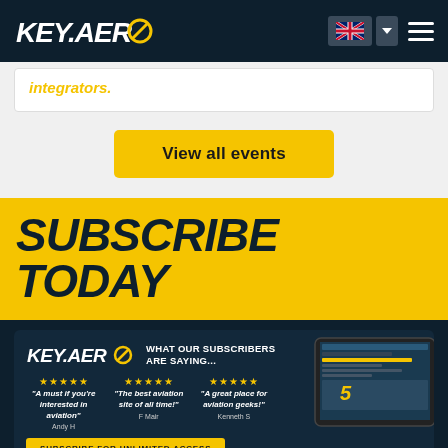KEY.AERO navigation bar with logo, UK flag language selector, and hamburger menu
integrators.
View all events
SUBSCRIBE TODAY
[Figure (screenshot): KEY.AERO subscriber ad card showing three 5-star reviews: 'A must if you're interested in aviation' - Andy H, 'The best aviation site of all time!' - F Mair, 'A great place for aviation geeks!' - Kenneth S. Features a Subscribe for Unlimited Access button and a tablet image.]
Get the latest Key